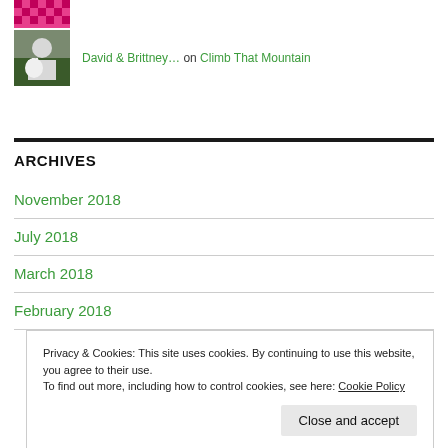[Figure (logo): Pink/magenta pixel-art style logo at top left]
David & Brittney... on Climb That Mountain
ARCHIVES
November 2018
July 2018
March 2018
February 2018
Privacy & Cookies: This site uses cookies. By continuing to use this website, you agree to their use.
To find out more, including how to control cookies, see here: Cookie Policy
Close and accept